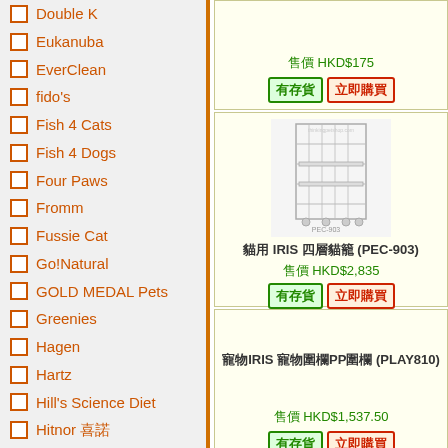Double K
Eukanuba
EverClean
fido's
Fish 4 Cats
Fish 4 Dogs
Four Paws
Fromm
Fussie Cat
Go!Natural
GOLD MEDAL Pets
Greenies
Hagen
Hartz
Hill's Science Diet
Hitnor 喜諾
Holistic Blend
Holistic Select 活 ...
Iams
IRIS
售價 HKD$175 有存貨 立即購買
[Figure (photo): IRIS pet cage product photo (PEC-903)]
貓用 IRIS 四層貓籠 (PEC-903) 售價 HKD$2,835 有存貨 立即購買
寵物IRIS 寵物圍欄PP圍欄 (PLAY810) 售價 HKD$1,537.50 有存貨 立即購買
寵物IRIS 寵物圍欄 HCA-800, 900 售價 HKD$1,287.50 有存貨 立即購買